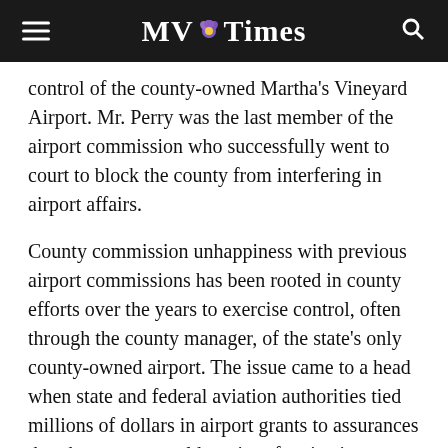MV Times
control of the county-owned Martha's Vineyard Airport. Mr. Perry was the last member of the airport commission who successfully went to court to block the county from interfering in airport affairs.
County commission unhappiness with previous airport commissions has been rooted in county efforts over the years to exercise control, often through the county manager, of the state's only county-owned airport. The issue came to a head when state and federal aviation authorities tied millions of dollars in airport grants to assurances that the county would not interfere in airport affairs.
[Figure (logo): Vineyard banner logo with yellow text on blue background showing 'VINEYARD']